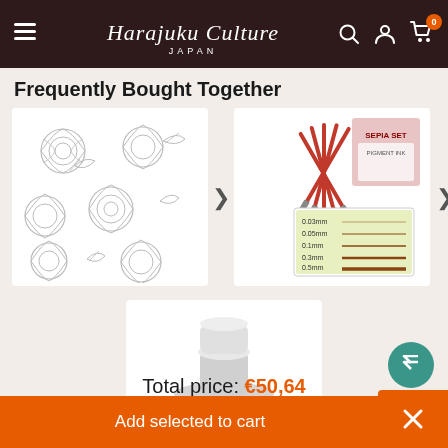Harajuku Culture JAPAN
Frequently Bought Together
[Figure (photo): White fabric with rose pattern sketch design]
[Figure (photo): Sepia set of 5 fine liner pens with line width chart showing 0.03mm, 0.05mm, 0.1mm, 0.3mm, 0.5mm]
[Figure (photo): White ink bottle labeled WHITE 1]
Total price: €50,64
Add selected to cart